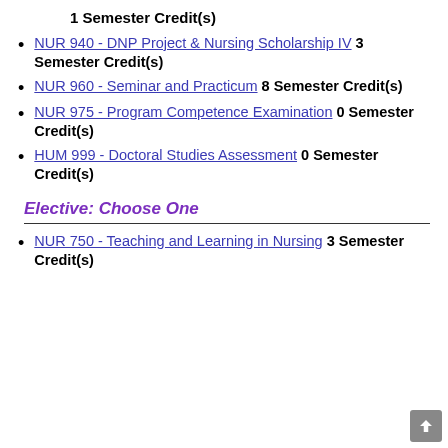1 Semester Credit(s)
NUR 940 - DNP Project & Nursing Scholarship IV 3 Semester Credit(s)
NUR 960 - Seminar and Practicum 8 Semester Credit(s)
NUR 975 - Program Competence Examination 0 Semester Credit(s)
HUM 999 - Doctoral Studies Assessment 0 Semester Credit(s)
Elective: Choose One
NUR 750 - Teaching and Learning in Nursing 3 Semester Credit(s)